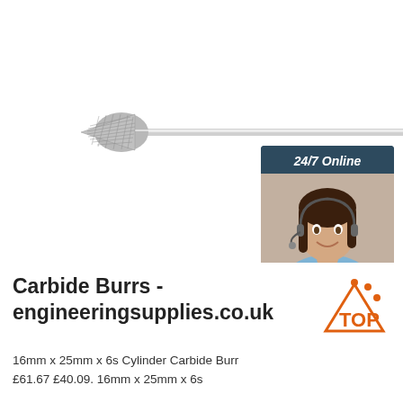[Figure (photo): A carbide burr rotary tool bit with a cone/pointed tip shape, silver metallic finish, with crosshatch cutting pattern on the head and a long straight shank]
[Figure (illustration): Customer support chat widget showing a woman wearing a headset with '24/7 Online' header, 'Click here for free chat!' text, and an orange 'QUOTATION' button]
Carbide Burrs - engineeringsupplies.co.uk
16mm x 25mm x 6s Cylinder Carbide Burr £61.67 £40.09. 16mm x 25mm x 6s